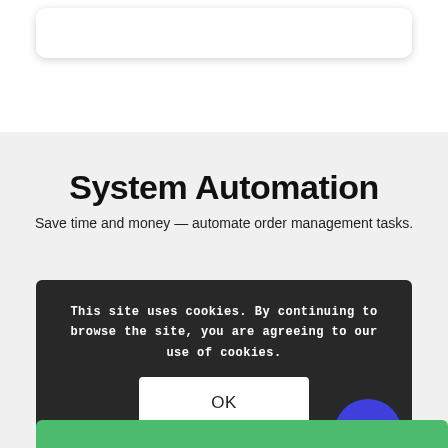[Figure (screenshot): White card/panel with rounded corners and drop shadow at the top of the page]
System Automation
Save time and money — automate order management tasks.
This site uses cookies. By continuing to browse the site, you are agreeing to our use of cookies.
OK